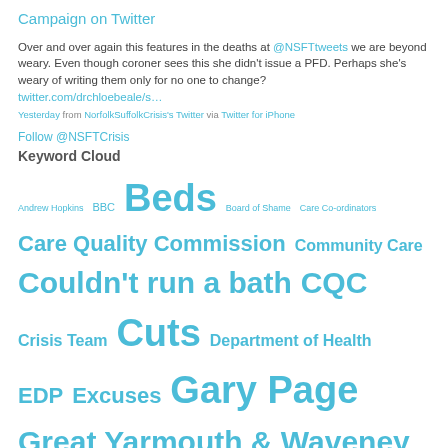Campaign on Twitter
Over and over again this features in the deaths at @NSFTtweets we are beyond weary. Even though coroner sees this she didn't issue a PFD. Perhaps she's weary of writing them only for no one to change? twitter.com/drchloebeale/s…
Yesterday from NorfolkSuffolkCrisis's Twitter via Twitter for iPhone
Follow @NSFTCrisis
Keyword Cloud
Andrew Hopkins BBC Beds Board of Shame Care Co-ordinators Care Quality Commission Community Care Couldn't run a bath CQC Crisis Team Cuts Department of Health EDP Excuses Gary Page Great Yarmouth & Waveney CCG Healthwatch Hellesdon Hospital Ipswich and East Suffolk CCG Jane Sayer Kathy Chapman Map of Shame Mental